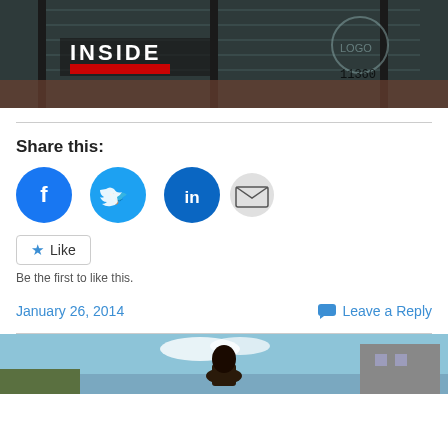[Figure (photo): Blurred/dark image showing a window interior with 'INSIDE' text overlay visible, appears to be a TV or media screenshot]
Share this:
[Figure (infographic): Social sharing icons: Facebook (blue circle), Twitter (blue circle), LinkedIn (blue circle), Email (light gray circle), Print (light gray circle)]
Like
Be the first to like this.
January 26, 2014
Leave a Reply
[Figure (photo): Bottom portion of page showing a woman with dark hair outdoors, partial view at bottom of page]